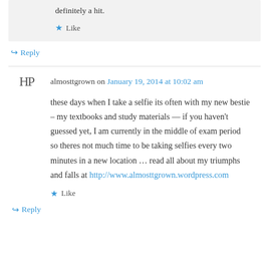definitely a hit.
★ Like
↪ Reply
almosttgrown on January 19, 2014 at 10:02 am
these days when I take a selfie its often with my new bestie – my textbooks and study materials — if you haven't guessed yet, I am currently in the middle of exam period so theres not much time to be taking selfies every two minutes in a new location … read all about my triumphs and falls at http://www.almosttgrown.wordpress.com
★ Like
↪ Reply